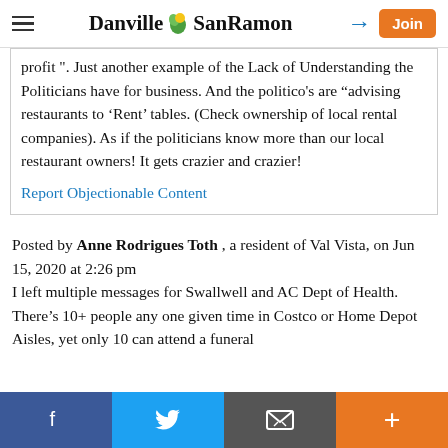Danville SanRamon
profit ". Just another example of the Lack of Understanding the Politicians have for business. And the politico's are “advising restaurants to ‘Rent’ tables. (Check ownership of local rental companies). As if the politicians know more than our local restaurant owners! It gets crazier and crazier!
Report Objectionable Content
Posted by Anne Rodrigues Toth , a resident of Val Vista, on Jun 15, 2020 at 2:26 pm
I left multiple messages for Swallwell and AC Dept of Health. There’s 10+ people any one given time in Costco or Home Depot Aisles, yet only 10 can attend a funeral
Facebook | Twitter | Email | Plus